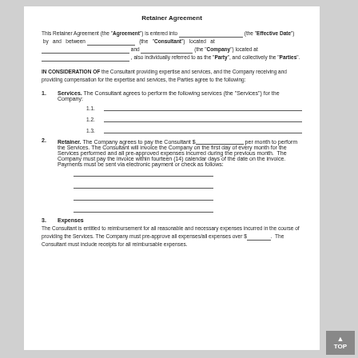Retainer Agreement
This Retainer Agreement (the "Agreement") is entered into _______________________ (the "Effective Date") by and between ______________________ (the "Consultant") located at ________________________________ and ____________________ (the "Company") located at ________________________________ , also individually referred to as the "Party", and collectively the "Parties".
IN CONSIDERATION OF the Consultant providing expertise and services, and the Company receiving and providing compensation for the expertise and services, the Parties agree to the following:
1. Services. The Consultant agrees to perform the following services (the "Services") for the Company:
1.1. ___
1.2. ___
1.3. ___
2. Retainer. The Company agrees to pay the Consultant $_____________ per month to perform the Services. The Consultant will invoice the Company on the first day of every month for the Services performed and all pre-approved expenses incurred during the previous month. The Company must pay the invoice within fourteen (14) calendar days of the date on the invoice. Payments must be sent via electronic payment or check as follows:
3. Expenses
The Consultant is entitled to reimbursement for all reasonable and necessary expenses incurred in the course of providing the Services. The Company must pre-approve all expenses/all expenses over $__________. The Consultant must include receipts for all reimbursable expenses.